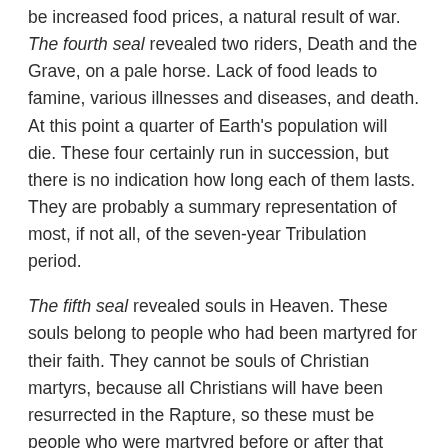be increased food prices, a natural result of war. The fourth seal revealed two riders, Death and the Grave, on a pale horse. Lack of food leads to famine, various illnesses and diseases, and death. At this point a quarter of Earth's population will die. These four certainly run in succession, but there is no indication how long each of them lasts. They are probably a summary representation of most, if not all, of the seven-year Tribulation period.
The fifth seal revealed souls in Heaven. These souls belong to people who had been martyred for their faith. They cannot be souls of Christian martyrs, because all Christians will have been resurrected in the Rapture, so these must be people who were martyred before or after that (Old Testament martyrs and/or Tribulation martyrs). Since the worldwide government persecution on Tribulation saints may not start until the second half of the Tribulation, the timing of this seal is difficult to determine. Additionally, their martyrdom may not have anything to do with Antichrist, as there are plenty of groups intent on killing